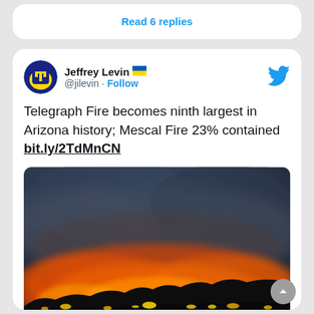Read 6 replies
Jeffrey Levin @jilevin · Follow
Telegraph Fire becomes ninth largest in Arizona history; Mescal Fire 23% contained bit.ly/2TdMnCN
[Figure (photo): Night-time wildfire photograph showing bright orange and red flames and smoke along a dark hillside silhouette against a dark blue-grey smoky sky]